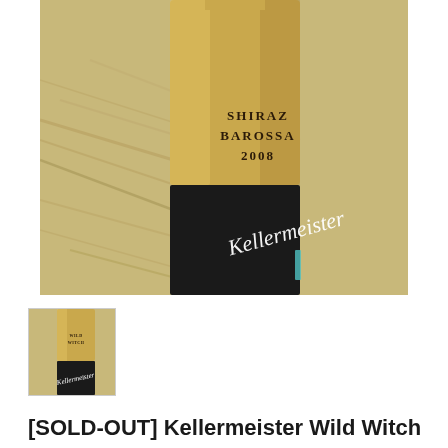[Figure (photo): Close-up photo of a wine bottle with a gold label reading 'SHIRAZ BAROSSA 2008' and a black label with cursive script 'Kellermeister', resting on straw/hay background.]
[Figure (photo): Thumbnail image of the same Kellermeister wine bottle showing gold and black labels.]
[SOLD-OUT] Kellermeister Wild Witch